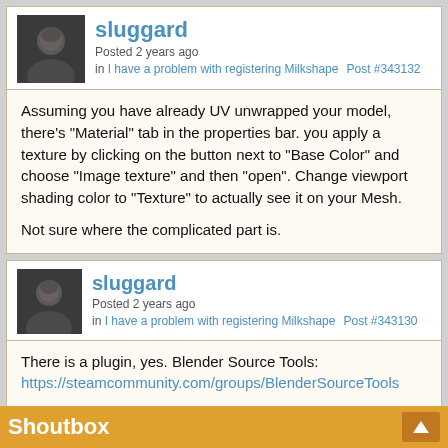sluggard
Posted 2 years ago
in I have a problem with registering Milkshape   Post #343132
Assuming you have already UV unwrapped your model, there's "Material" tab in the properties bar. you apply a texture by clicking on the button next to "Base Color" and choose "Image texture" and then "open". Change viewport shading color to "Texture" to actually see it on your Mesh.

Not sure where the complicated part is.
sluggard
Posted 2 years ago
in I have a problem with registering Milkshape   Post #343130
There is a plugin, yes. Blender Source Tools:
https://steamcommunity.com/groups/BlenderSourceTools
Shoutbox